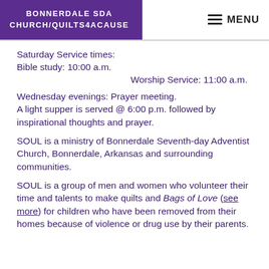BONNERDALE SDA CHURCH/QUILTS4ACAUSE | MENU
Saturday Service times:
Bible study: 10:00 a.m.
Worship Service: 11:00 a.m.
Wednesday evenings: Prayer meeting.
A light supper is served @ 6:00 p.m. followed by inspirational thoughts and prayer.
SOUL is a ministry of Bonnerdale Seventh-day Adventist Church, Bonnerdale, Arkansas and surrounding communities.
SOUL is a group of men and women who volunteer their time and talents to make quilts and Bags of Love (see more) for children who have been removed from their homes because of violence or drug use by their parents.